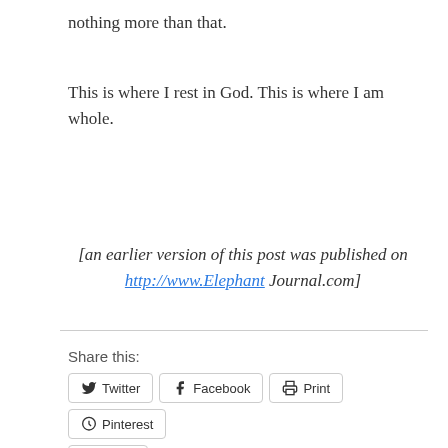nothing more than that.
This is where I rest in God. This is where I am whole.
[an earlier version of this post was published on http://www.Elephant Journal.com]
Share this:
Twitter  Facebook  Print  Pinterest  Email